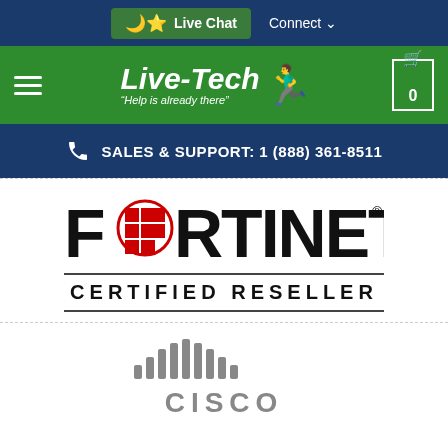Live Chat  Connect
[Figure (logo): Live-Tech logo with mascot and tagline 'Help is already there']
SALES & SUPPORT: 1 (888) 361-8511
[Figure (logo): Fortinet Certified Reseller logo]
[Figure (logo): Cisco logo (partial, bottom of page)]